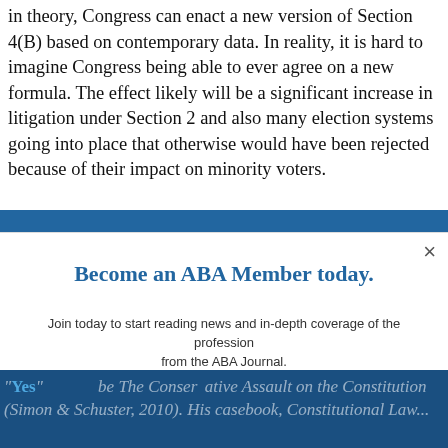in theory, Congress can enact a new version of Section 4(B) based on contemporary data. In reality, it is hard to imagine Congress being able to ever agree on a new formula. The effect likely will be a significant increase in litigation under Section 2 and also many election systems going into place that otherwise would have been rejected because of their impact on minority voters.
[Figure (screenshot): ABA membership modal overlay with title 'Become an ABA Member today.', body text, JOIN THE ABA button, and sign-in link]
Yes ... be The Conservative Assault on the Constitution (Simon & Schuster, 2010). His casebook, Constitutional Law...